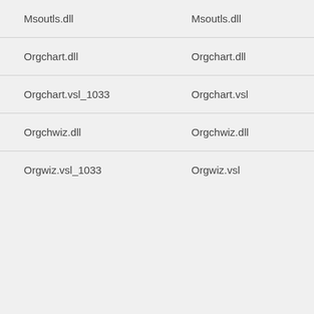| Msoutls.dll | Msoutls.dll |
| Orgchart.dll | Orgchart.dll |
| Orgchart.vsl_1033 | Orgchart.vsl |
| Orgchwiz.dll | Orgchwiz.dll |
| Orgwiz.vsl_1033 | Orgwiz.vsl |